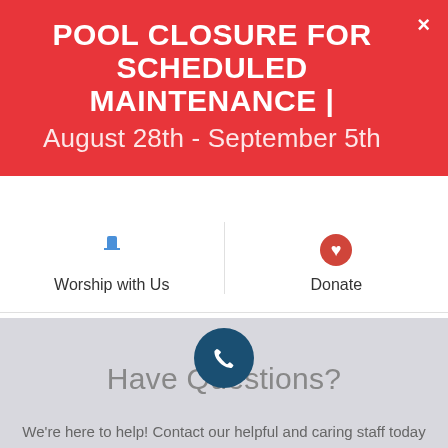POOL CLOSURE FOR SCHEDULED MAINTENANCE | August 28th - September 5th
Worship with Us
Donate
Have Questions?
We're here to help! Contact our helpful and caring staff today and we will be happy to help you with whatever you need. We also welcome any feedback you have that to help us keep evolving to better serve you.